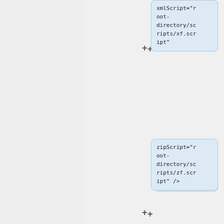[Figure (screenshot): Left grey panel with vertical blue border line]
xmlScript="root-directory/scripts/xf.script"
zipScript="root-directory/scripts/zf.script" />
</pre>
</pre>
where:
where:
Line 674:
Line 677:
root="root-directory"
root="root-directory"